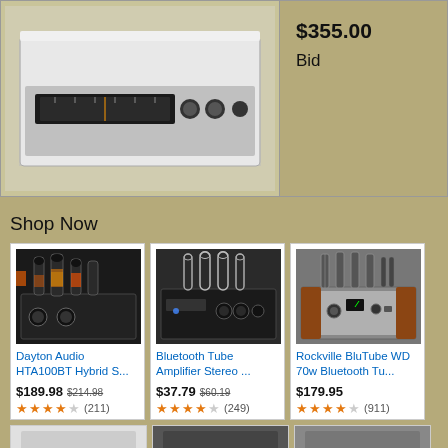[Figure (photo): Vintage stereo receiver/amplifier in silver/chrome finish, top view showing controls and tuner dial]
$355.00
Bid
Shop Now
[Figure (photo): Dayton Audio HTA100BT Hybrid tube amplifier, black with exposed vacuum tubes on top]
Dayton Audio HTA100BT Hybrid S...
$189.98  $214.98  (211 reviews, 4.5 stars)
[Figure (photo): Bluetooth Tube Amplifier Stereo, black with glass tubes on top]
Bluetooth Tube Amplifier Stereo ...
$37.79  $60.19  (249 reviews, 4 stars)
[Figure (photo): Rockville BluTube WD 70w Bluetooth tube amplifier with wood sides]
Rockville BluTube WD 70w Bluetooth Tu...
$179.95  (911 reviews, 4.5 stars)